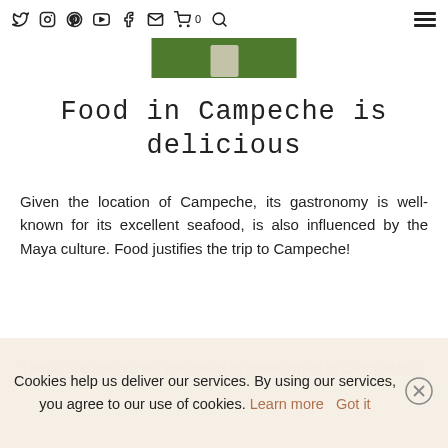Social media nav icons and hamburger menu
[Figure (photo): Partial image strip showing green background with white figure, partially cropped at top]
Food in Campeche is delicious
Given the location of Campeche, its gastronomy is well-known for its excellent seafood, is also influenced by the Maya culture. Food justifies the trip to Campeche!
These are the dishes you need to order when in Campeche:
Cookies help us deliver our services. By using our services, you agree to our use of cookies. Learn more Got it